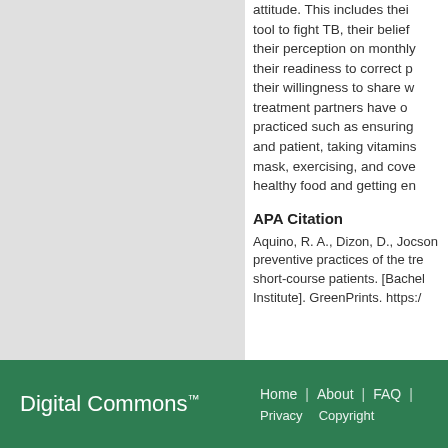attitude. This includes their tool to fight TB, their belief their perception on monthly their readiness to correct p their willingness to share w treatment partners have o practiced such as ensuring and patient, taking vitamins mask, exercising, and cove healthy food and getting en
APA Citation
Aquino, R. A., Dizon, D., Jocson preventive practices of the tre short-course patients. [Bachel Institute]. GreenPrints. https:/
Digital Commons™   Home | About | FAQ |   Privacy   Copyright